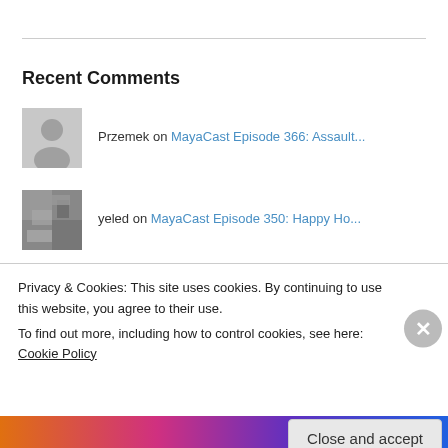Recent Comments
Przemek on MayaCast Episode 366: Assault...
yeled on MayaCast Episode 350: Happy Ho...
Ryan on MayaCast Episode 258: Hodge Po...
Dino Steve on MayaCast Episode 194: Reduce,...
Privacy & Cookies: This site uses cookies. By continuing to use this website, you agree to their use.
To find out more, including how to control cookies, see here: Cookie Policy
Close and accept